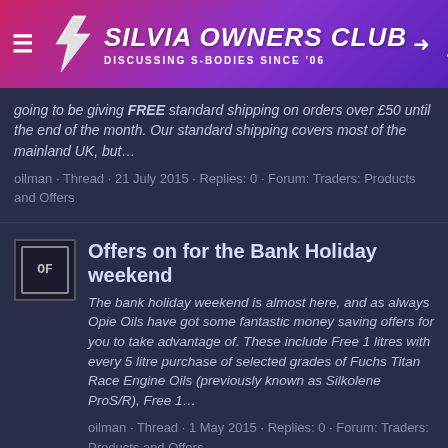SILVIA OWNERS CLUB · DISCUSSING S-BODIES SINCE '06
going to be giving FREE standard shipping on orders over £50 until the end of the month. Our standard shipping covers most of the mainland UK, but…
oilman · Thread · 21 July 2015 · Replies: 0 · Forum: Traders: Products and Offers
Offers on for the Bank Holiday weekend
The bank holiday weekend is almost here, and as always Opie Oils have got some fantastic money saving offers for you to take advantage of. These include Free 1 litres with every 5 litre purchase of selected grades of Fuchs Titan Race Engine Oils (previously known as Silkolene ProS/R), Free 1…
oilman · Thread · 1 May 2015 · Replies: 0 · Forum: Traders: Products and Offers
Free UK Mainland Shipping on £50+ orders - Weekend only